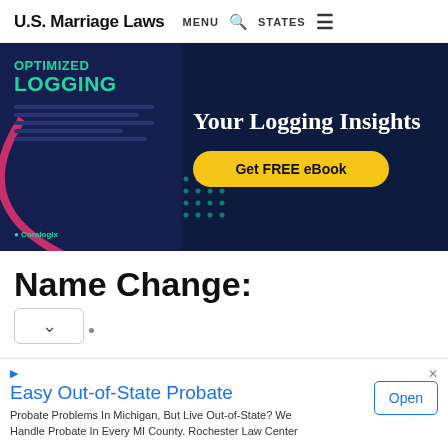U.S. Marriage Laws  MENU  🔍  STATES  ≡
[Figure (photo): Advertisement banner for Coralogix eBook about optimized logging, dark navy background with teal text on left and white text 'Your Logging Insights' on right, with yellow 'Get FREE eBook' button]
Name Change:
▾  (dropdown element)
Easy Out-of-State Probate
Probate Problems In Michigan, But Live Out-of-State? We Handle Probate In Every MI County. Rochester Law Center
Open